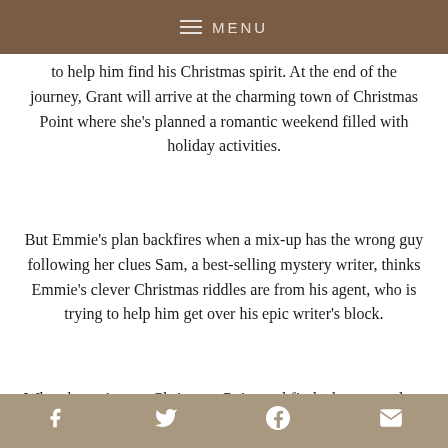MENU
to help him find his Christmas spirit. At the end of the journey, Grant will arrive at the charming town of Christmas Point where she's planned a romantic weekend filled with holiday activities.
But Emmie's plan backfires when a mix-up has the wrong guy following her clues Sam, a best-selling mystery writer, thinks Emmie's clever Christmas riddles are from his agent, who is trying to help him get over his epic writer's block.
When he arrives at Christmas Point and finds the stunned Emmie, he immediately feels she's someone special, but she can't get beyond the fact that the
f  twitter  p  mail